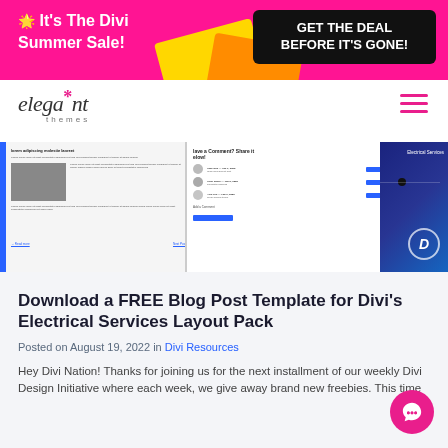[Figure (infographic): Pink promotional banner with 'It's The Divi Summer Sale!' on the left and a black CTA button 'GET THE DEAL BEFORE IT'S GONE!' on the right, with yellow and orange decorative shapes.]
[Figure (logo): Elegant Themes logo in italic serif font with asterisk/star in pink and 'themes' in small caps below.]
[Figure (screenshot): Three-panel website screenshot strip showing: a blog post layout with blue left bar, a comment section, and an Electrical Services dark blue page with Divi D logo.]
Download a FREE Blog Post Template for Divi's Electrical Services Layout Pack
Posted on August 19, 2022 in Divi Resources
Hey Divi Nation! Thanks for joining us for the next installment of our weekly Divi Design Initiative where each week, we give away brand new freebies. This time